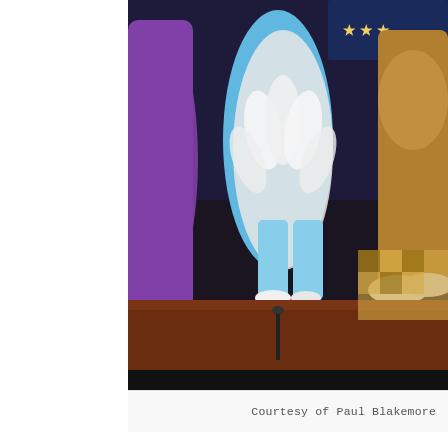[Figure (photo): Theatre stage photo showing performers in costumes including a blue feathered costume, a white feathered costume, a purple costume on the left, and a brown/gold costume on the right, on a dark stage with a checkered floor element visible on the right.]
Courtesy of Paul Blakemore
Originally created by Zoe Squire and Emma Earle of Pins and Needles Theatre Company, this latest tour sees Hal Chambers take the director's seat, and, clearly, this revival continues in good hands. The show opens with an up-beat musical number from the irrepressible